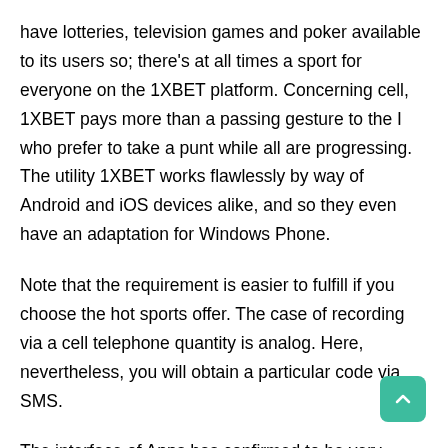have lotteries, television games and poker available to its users so; there's at all times a sport for everyone on the 1XBET platform. Concerning cell, 1XBET pays more than a passing gesture to the I who prefer to take a punt while all are progressing. The utility 1XBET works flawlessly by way of Android and iOS devices alike, and so they even have an adaptation for Windows Phone.
Note that the requirement is easier to fulfill if you choose the hot sports offer. The case of recording via a cell telephone quantity is analog. Here, nevertheless, you will obtain a particular code via SMS.
The interface of Apps has confirmed to be very efficient. You get to log into your account and place your bets simply. The App will hold you up to date on the progress of your bets and you can even activate to get notifications when the match ends. This will assist you to not stay glued to your cellphone awaiting the result.